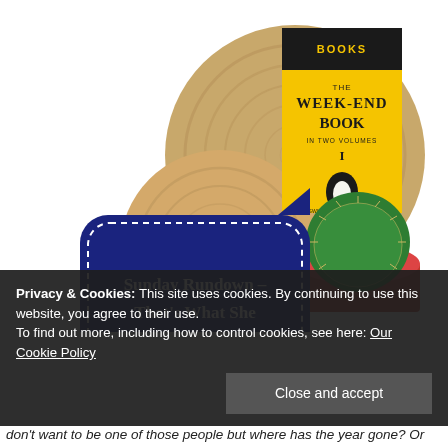[Figure (photo): Blog header image showing a yellow Penguin book titled 'The Week-End Book in Two Volumes' resting on wooden coasters/slices, with a small red-potted cactus below it. A navy blue speech bubble with white dashed border overlaid on the left reads 'Sunday Rundown – That's What She Read' in white small-caps text.]
Privacy & Cookies: This site uses cookies. By continuing to use this website, you agree to their use.
To find out more, including how to control cookies, see here: Our Cookie Policy
Close and accept
don't want to be one of those people but where has the year gone? Or